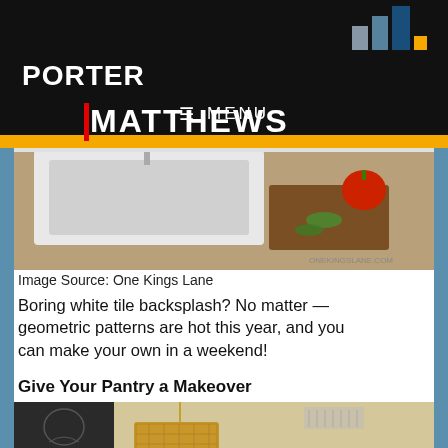[Figure (screenshot): Bar chart graphic in top right header area showing colored bars]
PORTER | MATTHEWS — website header with navigation menu bar showing MENU
[Figure (photo): Kitchen countertop with white farmhouse sink, wooden cutting board with tomato and herbs, white tile backsplash. Watermark: ONEKINGSLANE.COM]
Image Source: One Kings Lane
Boring white tile backsplash? No matter — geometric patterns are hot this year, and you can make your own in a weekend!
Give Your Pantry a Makeover
[Figure (photo): Interior room photo showing a gold mosaic pendant light fixture hanging from ceiling, dark chalkboard wall with decorative design, beige ceiling with vent]